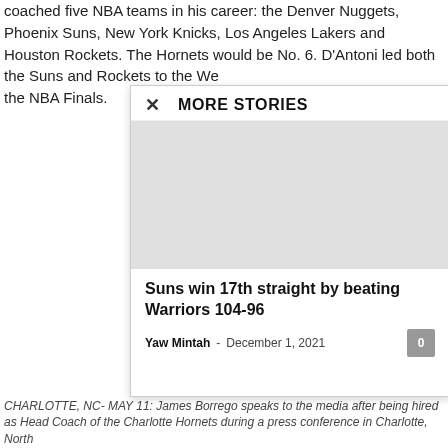coached five NBA teams in his career: the Denver Nuggets, Phoenix Suns, New York Knicks, Los Angeles Lakers and Houston Rockets. The Hornets would be No. 6. D'Antoni led both the Suns and Rockets to the We the NBA Finals.
[Figure (screenshot): A modal popup overlay showing 'MORE STORIES' with a close (X) button, a gray image placeholder, a story headline 'Suns win 17th straight by beating Warriors 104-96', byline 'Yaw Mintah - December 1, 2021', and a comment count button showing 0.]
CHARLOTTE, NC- MAY 11: James Borrego speaks to the media after being hired as Head Coach of the Charlotte Hornets during a press conference in Charlotte, North